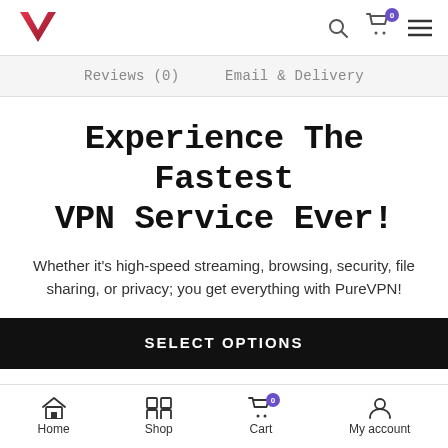VPN service website header with logo and cart/menu icons
Reviews (0)
Email & Delivery
Experience The Fastest VPN Service Ever!
Whether it's high-speed streaming, browsing, security, file sharing, or privacy; you get everything with PureVPN!
SELECT OPTIONS
Home  Shop  Cart  My account